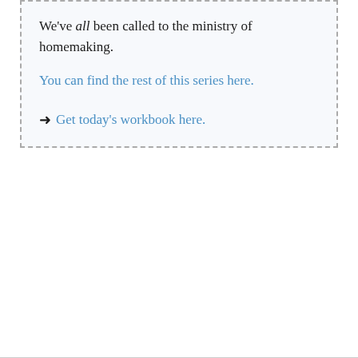We've all been called to the ministry of homemaking.
You can find the rest of this series here.
➜ Get today's workbook here.